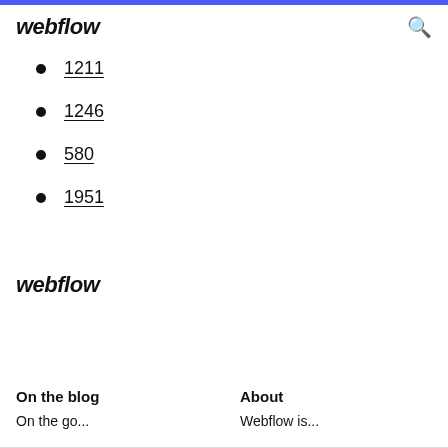webflow
1211
1246
580
1951
webflow
On the blog
About